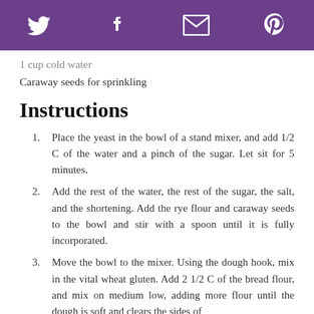[Social share icons: Twitter, Facebook, Email, Pinterest]
1 cup cold water
Caraway seeds for sprinkling
Instructions
Place the yeast in the bowl of a stand mixer, and add 1/2 C of the water and a pinch of the sugar. Let sit for 5 minutes.
Add the rest of the water, the rest of the sugar, the salt, and the shortening. Add the rye flour and caraway seeds to the bowl and stir with a spoon until it is fully incorporated.
Move the bowl to the mixer. Using the dough hook, mix in the vital wheat gluten. Add 2 1/2 C of the bread flour, and mix on medium low, adding more flour until the dough is soft and clears the sides of